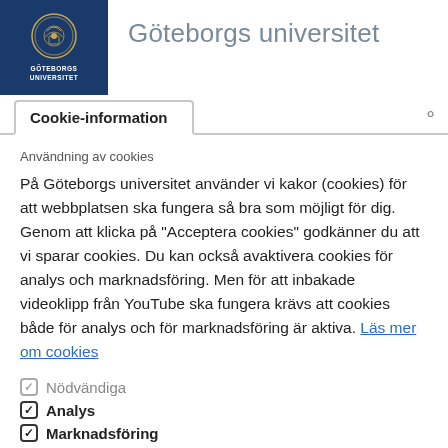[Figure (logo): Göteborgs Universitet logo — dark blue square with circular university seal and white text GÖTEBORGS UNIVERSITET]
Göteborgs universitet
Cookie-information
Användning av cookies
På Göteborgs universitet använder vi kakor (cookies) för att webbplatsen ska fungera så bra som möjligt för dig. Genom att klicka på "Acceptera cookies" godkänner du att vi sparar cookies. Du kan också avaktivera cookies för analys och marknadsföring. Men för att inbakade videoklipp från YouTube ska fungera krävs att cookies både för analys och för marknadsföring är aktiva. Läs mer om cookies
✓ Nödvändiga
✓ Analys
✓ Marknadsföring